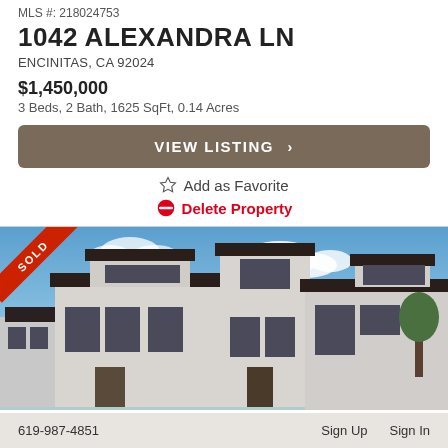MLS #: 218024753
1042 ALEXANDRA LN
ENCINITAS, CA 92024
$1,450,000
3 Beds, 2 Bath, 1625 SqFt, 0.14 Acres
VIEW LISTING  >
Add as Favorite
Delete Property
[Figure (photo): Exterior photo of modern two-story white stucco homes with dark trim and flat rooflines, with a red SOLD ribbon banner in the upper left corner. Blue sky with clouds in background.]
619-987-4851   Sign Up   Sign In